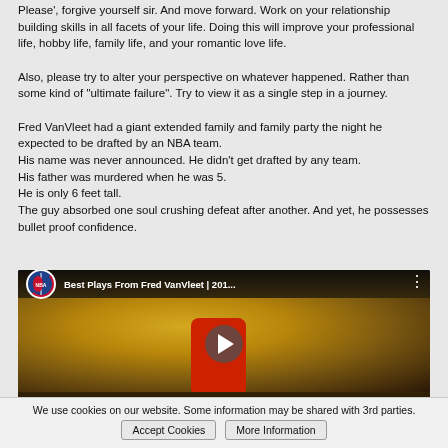Please', forgive yourself sir. And move forward. Work on your relationship building skills in all facets of your life. Doing this will improve your professional life, hobby life, family life, and your romantic love life.
Also, please try to alter your perspective on whatever happened. Rather than some kind of "ultimate failure". Try to view it as a single step in a journey.
Fred VanVleet had a giant extended family and family party the night he expected to be drafted by an NBA team.
His name was never announced. He didn't get drafted by any team.
His father was murdered when he was 5.
He is only 6 feet tall.
The guy absorbed one soul crushing defeat after another. And yet, he possesses bullet proof confidence.
[Figure (screenshot): YouTube video thumbnail showing Fred VanVleet in a red jersey on a basketball court with crowd in background. NBA logo and title 'Best Plays From Fred VanVleet | 201...' shown at top. Play button in center. 'FRED VANVLEET' text at bottom.]
We use cookies on our website. Some information may be shared with 3rd parties.  Accept Cookies   More Information